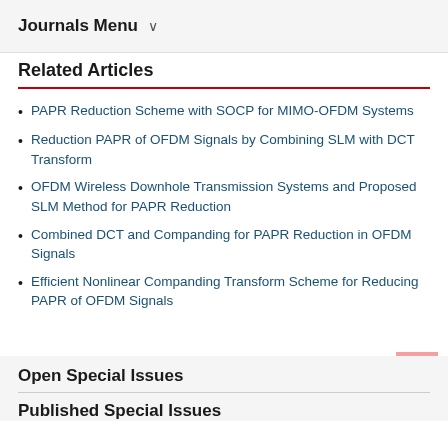Journals Menu ∨
Related Articles
PAPR Reduction Scheme with SOCP for MIMO-OFDM Systems
Reduction PAPR of OFDM Signals by Combining SLM with DCT Transform
OFDM Wireless Downhole Transmission Systems and Proposed SLM Method for PAPR Reduction
Combined DCT and Companding for PAPR Reduction in OFDM Signals
Efficient Nonlinear Companding Transform Scheme for Reducing PAPR of OFDM Signals
Open Special Issues
Published Special Issues